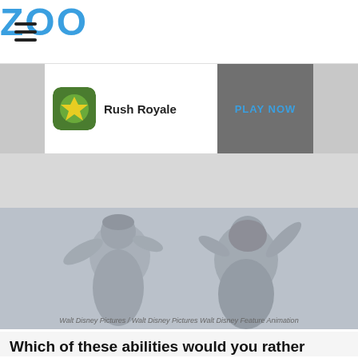ZOO
[Figure (screenshot): Advertisement banner for Rush Royale game with game icon on left and PLAY NOW button on right]
[Figure (photo): Grayscale image of Aladdin and Jasmine from Walt Disney Pictures animated film, both with arms raised]
Walt Disney Pictures / Walt Disney Pictures Walt Disney Feature Animation
Which of these abilities would you rather